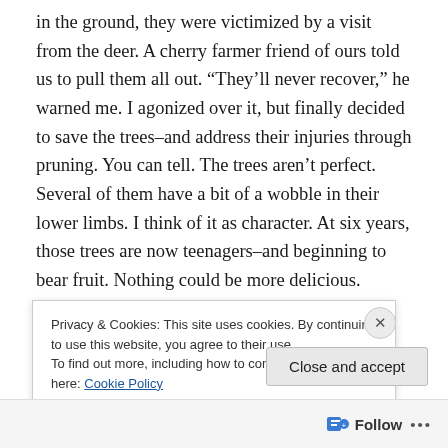in the ground, they were victimized by a visit from the deer. A cherry farmer friend of ours told us to pull them all out. “They’ll never recover,” he warned me. I agonized over it, but finally decided to save the trees–and address their injuries through pruning. You can tell. The trees aren’t perfect. Several of them have a bit of a wobble in their lower limbs. I think of it as character. At six years, those trees are now teenagers–and beginning to bear fruit. Nothing could be more delicious.

We also have a couple of “ancient” apple trees. When my
Privacy & Cookies: This site uses cookies. By continuing to use this website, you agree to their use.
To find out more, including how to control cookies, see here: Cookie Policy
Close and accept
Follow ...